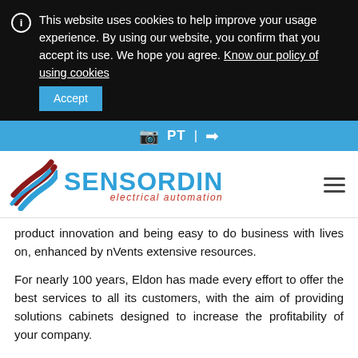This website uses cookies to help improve your usage experience. By using our website, you confirm that you accept its use. We hope you agree. Know our policy of using cookies  Accept
[Figure (logo): Sensordin electrical automation logo with blue and dark red stylized wave icon and blue SENSORDIN text]
product innovation and being easy to do business with lives on, enhanced by nVents extensive resources.
For nearly 100 years, Eldon has made every effort to offer the best services to all its customers, with the aim of providing solutions cabinets designed to increase the profitability of your company.
Present in over 45 countries, Eldon is a partner that listens to the needs of the market for control, power distribution, and